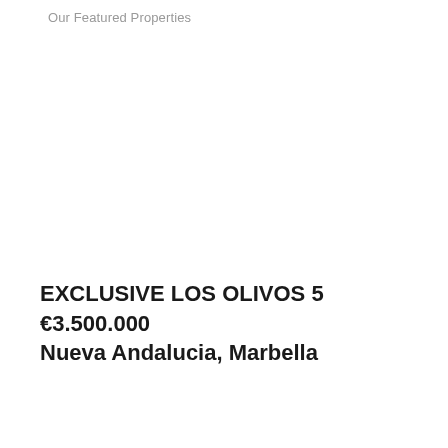Our Featured Properties
EXCLUSIVE LOS OLIVOS 5
€3.500.000
Nueva Andalucia, Marbella